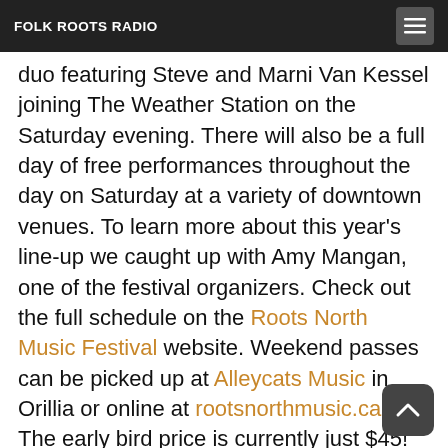FOLK ROOTS RADIO
performer Alysha Brilla who blends folk, jazz and world rhythms together and VK, an Orillia based Americana duo featuring Steve and Marni Van Kessel joining The Weather Station on the Saturday evening. There will also be a full day of free performances throughout the day on Saturday at a variety of downtown venues. To learn more about this year's line-up we caught up with Amy Mangan, one of the festival organizers. Check out the full schedule on the Roots North Music Festival website. Weekend passes can be picked up at Alleycats Music in Orillia or online at rootsnorthmusic.ca. The early bird price is currently just $45! (The cost of a weekend pass goes up to $55 on April 12. Don't miss out!) Photo: Deb Halbot. Music: Ron Sexsmith "Evergreen" from "The Last Rider" (2017, Ronboy Rhymes), Rose Cousins "Chosen" from "Natural Conclusion" (2017, Outside Music) and The Weather Station "You and I on the Other Side Of The World" from the